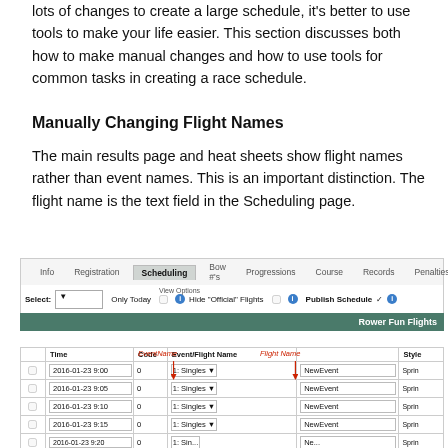lots of changes to create a large schedule, it's better to use tools to make your life easier. This section discusses both how to make manual changes and how to use tools for common tasks in creating a race schedule.
Manually Changing Flight Names
The main results page and heat sheets show flight names rather than event names. This is an important distinction. The flight name is the text field in the Scheduling page.
[Figure (screenshot): Screenshot of a scheduling page interface showing navigation tabs (Info, Registration, Scheduling, Bow #'s, Progressions, Course, Records, Penalties), a controls bar with Select dropdown, Only Today checkbox, Hide Official Flights option, and Publish Schedule option. Below is a table with header 'Rower Fun Flights' and columns Time, Code, Event/Flight Name, and Style. Rows show entries dated 2016-01-23 at 9:00, 9:05, 9:10, 9:15, 9:20 with Code 0, event '1: Singles', and flight name 'NewEvent'. Annotations in red label 'EventName' pointing to the Event/Flight Name column and 'Flight Name' pointing to the NewEvent field.]